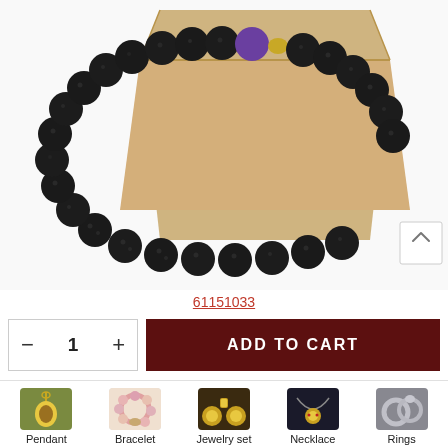[Figure (photo): Product photo of a lava stone beaded bracelet displayed on and around a kraft paper/cardboard box. The bracelet features dark black porous lava beads with a purple gemstone accent and gold-toned spacer bead.]
61151033
[Figure (other): E-commerce add-to-cart UI: quantity selector with minus and plus buttons showing quantity 1, and a dark red ADD TO CART button.]
[Figure (other): Category navigation row with thumbnail icons and labels: Pendant, Bracelet, Jewelry set, Necklace, Rings]